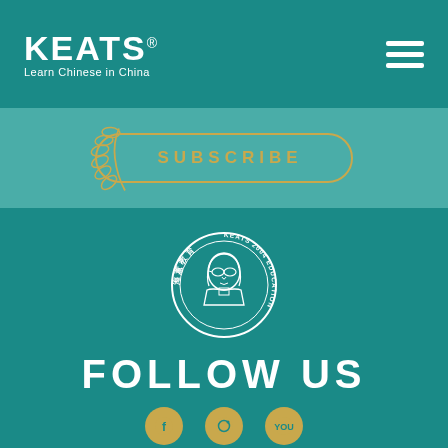KEATS® Learn Chinese in China
[Figure (logo): Hamburger menu icon (three horizontal white lines) in top right corner]
[Figure (infographic): Subscribe button with golden laurel decoration on teal background]
[Figure (logo): Keats 2004 Education circular seal logo with woman portrait in center, KEATS brand name and Learn Chinese in China tagline below]
FOLLOW US